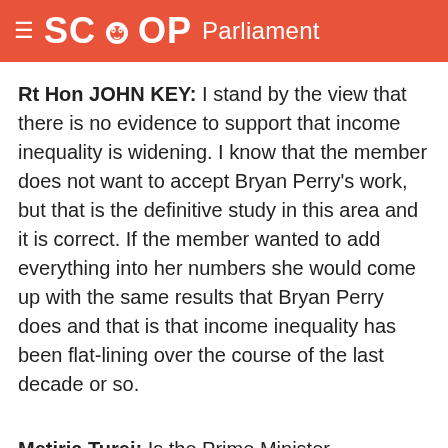SCOOP Parliament
Rt Hon JOHN KEY: I stand by the view that there is no evidence to support that income inequality is widening. I know that the member does not want to accept Bryan Perry's work, but that is the definitive study in this area and it is correct. If the member wanted to add everything into her numbers she would come up with the same results that Bryan Perry does and that is that income inequality has been flat-lining over the course of the last decade or so.
Metiria Turei: Is the Prime Minister suggesting that revelations that child poverty is much worse than previously thought and that 45,000 more children are living in poverty under his Government should make